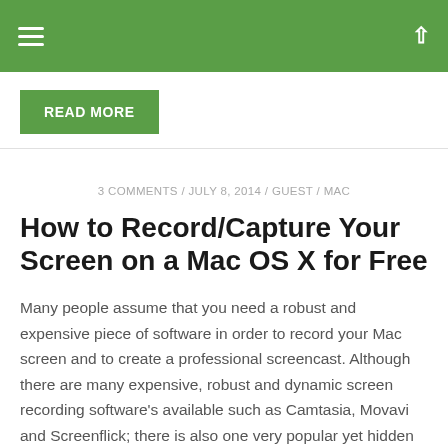Navigation bar with hamburger menu and up arrow
READ MORE
3 COMMENTS / JULY 8, 2014 / GUEST / MAC
How to Record/Capture Your Screen on a Mac OS X for Free
Many people assume that you need a robust and expensive piece of software in order to record your Mac screen and to create a professional screencast. Although there are many expensive, robust and dynamic screen recording software's available such as Camtasia, Movavi and Screenflick; there is also one very popular yet hidden software you can...